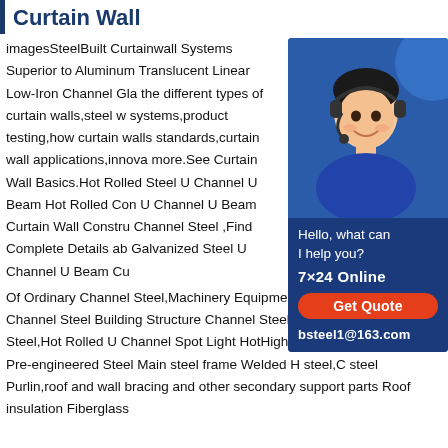Curtain Wall
imagesSteelBuilt Curtainwall Systems Superior to Aluminum Translucent Linear Low-Iron Channel Gla the different types of curtain walls,steel w systems,product testing,how curtain walls standards,curtain wall applications,innova more.See Curtain Wall Basics.Hot Rolled Steel U Channel U Beam Hot Rolled Con U Channel U Beam Curtain Wall Constru Channel Steel ,Find Complete Details ab Galvanized Steel U Channel U Beam Cu Of Ordinary Channel Steel,Machinery Equipment Vehicle Manufacturing Channel Steel Building Structure Channel Steel Low Alloy Channel Steel,Hot Rolled U Channel Spot Light HotHigh Strength Anti-corrosion Pre-engineered Steel Main steel frame Welded H steel,C steel Purlin,roof and wall bracing and other secondary support parts Roof insulation Fiberglass
[Figure (illustration): Chat widget with a customer service representative photo, showing 'Hello, what can I help you? 7×24 Online', a red 'Get Quote' button, and email bsteel1@163.com on a dark blue background.]